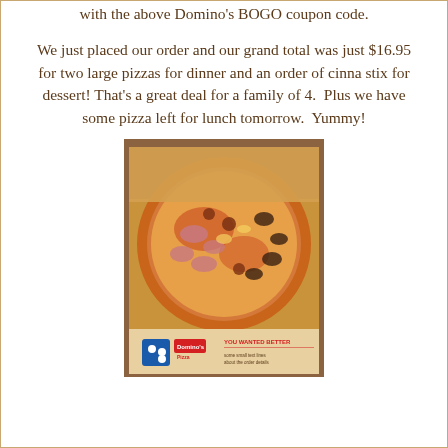with the above Domino's BOGO coupon code.
We just placed our order and our grand total was just $16.95 for two large pizzas for dinner and an order of cinna stix for dessert! That's a great deal for a family of 4.  Plus we have some pizza left for lunch tomorrow.  Yummy!
[Figure (photo): A large pizza in an open Domino's box on a dark surface, with a Domino's Pizza box visible below it showing 'YOU WANTED BETTER' text.]